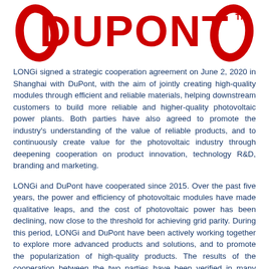[Figure (logo): DuPont logo in red with diamond shapes on either side of the bold red DUPONT text, with TM superscript]
LONGi signed a strategic cooperation agreement on June 2, 2020 in Shanghai with DuPont, with the aim of jointly creating high-quality modules through efficient and reliable materials, helping downstream customers to build more reliable and higher-quality photovoltaic power plants. Both parties have also agreed to promote the industry's understanding of the value of reliable products, and to continuously create value for the photovoltaic industry through deepening cooperation on product innovation, technology R&D, branding and marketing.
LONGi and DuPont have cooperated since 2015. Over the past five years, the power and efficiency of photovoltaic modules have made qualitative leaps, and the cost of photovoltaic power has been declining, now close to the threshold for achieving grid parity. During this period, LONGi and DuPont have been actively working together to explore more advanced products and solutions, and to promote the popularization of high-quality products. The results of the cooperation between the two parties have been verified in many projects around